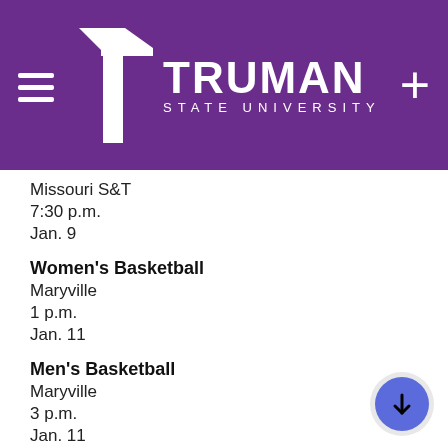[Figure (logo): Truman State University header with purple background, hamburger menu icon on left, T logo and TRUMAN STATE UNIVERSITY text in center, plus icon on right]
Missouri S&T
7:30 p.m.
Jan. 9
Women's Basketball
Maryville
1 p.m.
Jan. 11
Men's Basketball
Maryville
3 p.m.
Jan. 11
Women's Basketball
Illinois Springfield
5:30 p.m.
Jan. 16